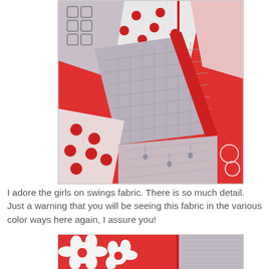[Figure (photo): Close-up photograph of a patchwork quilt with red, pink, and grey fabric pieces featuring polka dots, geometric squares, and girls-on-swings pattern, laid on a green cutting mat]
I adore the girls on swings fabric. There is so much detail. Just a warning that you will be seeing this fabric in the various color ways here again, I assure you!
[Figure (photo): Partial photograph of a red and white floral fabric with grey quilted section visible, showing the bottom of a quilt project]